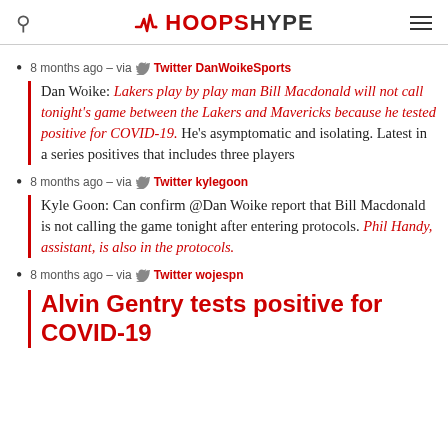HOOPSHYPE
8 months ago – via Twitter DanWoikeSports
Dan Woike: Lakers play by play man Bill Macdonald will not call tonight's game between the Lakers and Mavericks because he tested positive for COVID-19. He's asymptomatic and isolating. Latest in a series positives that includes three players
8 months ago – via Twitter kylegoon
Kyle Goon: Can confirm @Dan Woike report that Bill Macdonald is not calling the game tonight after entering protocols. Phil Handy, assistant, is also in the protocols.
8 months ago – via Twitter wojespn
Alvin Gentry tests positive for COVID-19